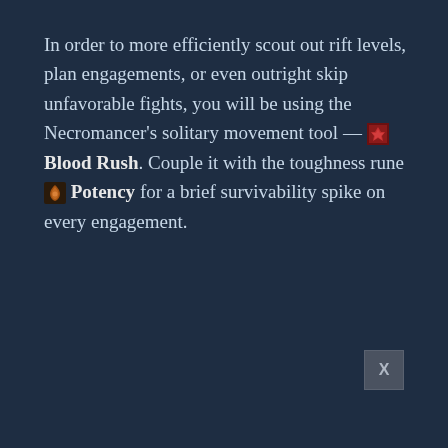In order to more efficiently scout out rift levels, plan engagements, or even outright skip unfavorable fights, you will be using the Necromancer's solitary movement tool — [Blood Rush icon] Blood Rush. Couple it with the toughness rune [Potency icon] Potency for a brief survivability spike on every engagement.